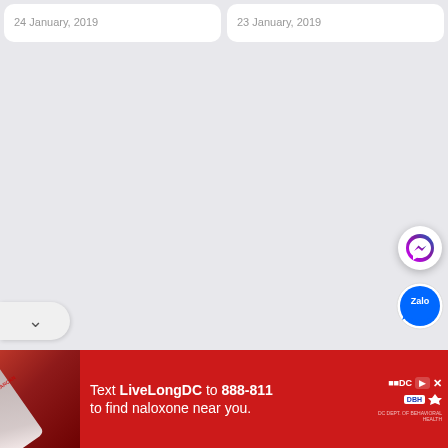24 January, 2019
23 January, 2019
[Figure (screenshot): Mobile web page screenshot showing two article date stamps ('24 January, 2019' and '23 January, 2019') on white cards, a large grey empty area, floating Messenger and Zalo chat buttons on the right, a dropdown chevron on the left, and a red advertisement banner at the bottom reading 'Text LiveLongDC to 888-811 to find naloxone near you.']
Text LiveLongDC to 888-811 to find naloxone near you.